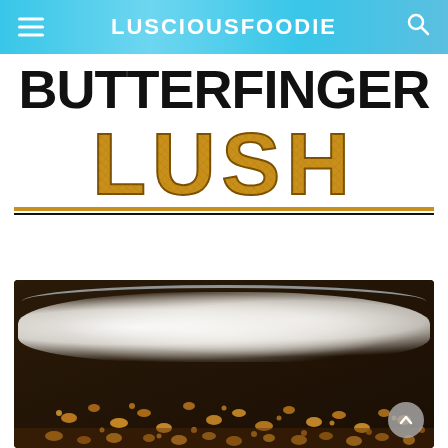LUSCIOUSFOODIE
BUTTERFINGER LUSH
[Figure (photo): Close-up photo of Butterfinger Lush dessert in a baking dish, showing creamy white topping with crushed Butterfinger candy pieces and nuts scattered on top, with a glass baking dish visible at the top of the frame.]